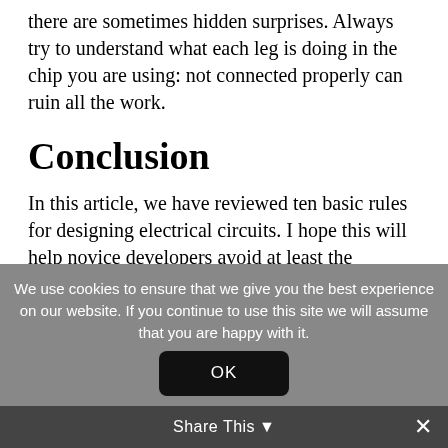there are sometimes hidden surprises. Always try to understand what each leg is doing in the chip you are using: not connected properly can ruin all the work.
Conclusion
In this article, we have reviewed ten basic rules for designing electrical circuits. I hope this will help novice developers avoid at least the simplest mistakes when designing schemes. And most importantly, develop
We use cookies to ensure that we give you the best experience on our website. If you continue to use this site we will assume that you are happy with it.
OK
Share This